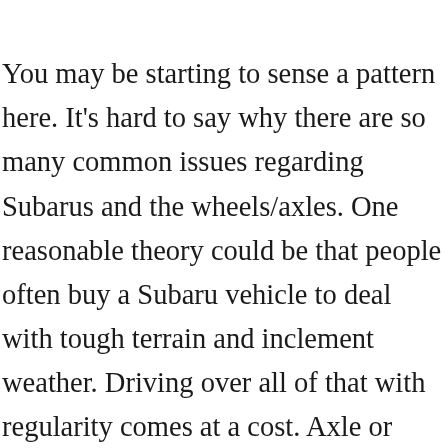You may be starting to sense a pattern here. It's hard to say why there are so many common issues regarding Subarus and the wheels/axles. One reasonable theory could be that people often buy a Subaru vehicle to deal with tough terrain and inclement weather. Driving over all of that with regularity comes at a cost. Axle or wheel bearings going bad give some telltale signs. Again, a lot of it comes down to sound. That clinking, humming, rumbling, and grinding is always a sign of something bad. It just may be hard to tell what joint or bearing is